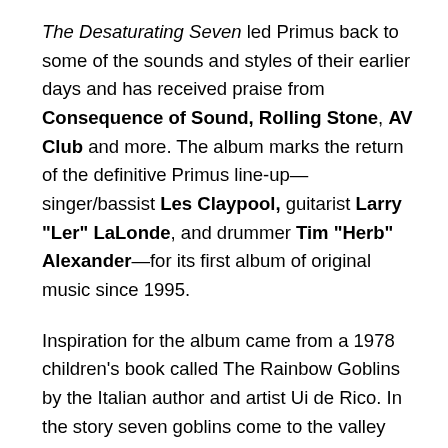The Desaturating Seven led Primus back to some of the sounds and styles of their earlier days and has received praise from Consequence of Sound, Rolling Stone, AV Club and more. The album marks the return of the definitive Primus line-up—singer/bassist Les Claypool, guitarist Larry "Ler" LaLonde, and drummer Tim "Herb" Alexander—for its first album of original music since 1995.
Inspiration for the album came from a 1978 children's book called The Rainbow Goblins by the Italian author and artist Ui de Rico. In the story seven goblins come to the valley where rainbows are born, intending to steal the rainbows and eat them. The valley, though, knows that the goblins are coming, and makes a plan to thwart the wicked creatures by hiding the rainbow. After the goblins are caught in their own nets, the flowers release the colors of the rainbow and drown the goblins, and in gratitude, the rainbow turns the flowers into